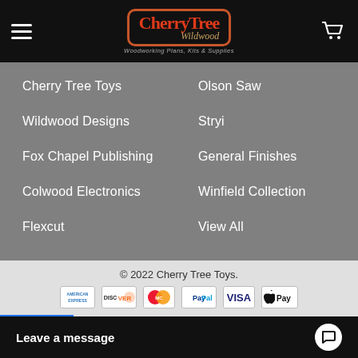[Figure (logo): Cherry Tree Wildwood logo in header navigation bar with hamburger menu and cart icon]
Cherry Tree Toys
Olson Saw
Wildwood Designs
Stryi
Fox Chapel Publishing
General Finishes
Colwood Electronics
Winfield Collection
Flexcut
View All
© 2022 Cherry Tree Toys.
[Figure (logo): Payment method icons: American Express, Discover, MasterCard, PayPal, VISA, Apple Pay]
[Figure (logo): Google review partial logo with orange G circle on blue background]
Leave a message